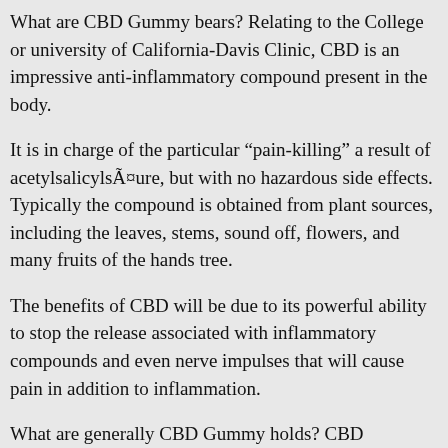What are CBD Gummy bears? Relating to the College or university of California-Davis Clinic, CBD is an impressive anti-inflammatory compound present in the body.
It is in charge of the particular “pain-killing” a result of acetylsalicylsÃ¤ure, but with no hazardous side effects. Typically the compound is obtained from plant sources, including the leaves, stems, sound off, flowers, and many fruits of the hands tree.
The benefits of CBD will be due to its powerful ability to stop the release associated with inflammatory compounds and even nerve impulses that will cause pain in addition to inflammation.
What are generally CBD Gummy holds? CBD Gummies presents the same health rewards and compliance to strict standards associated with quality found within other leading brand names.